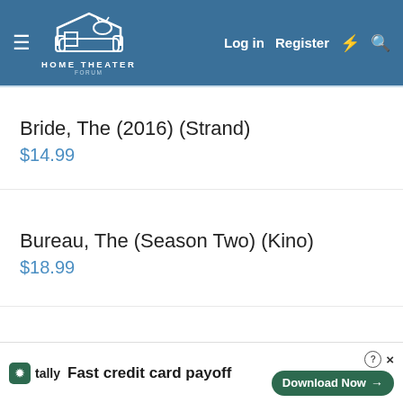HOME THEATER FORUM — Log in  Register
Bride, The (2016) (Strand)
$14.99
Bureau, The (Season Two) (Kino)
$18.99
Burning
[Figure (screenshot): Tally advertisement banner: 'Fast credit card payoff' with Download Now button]